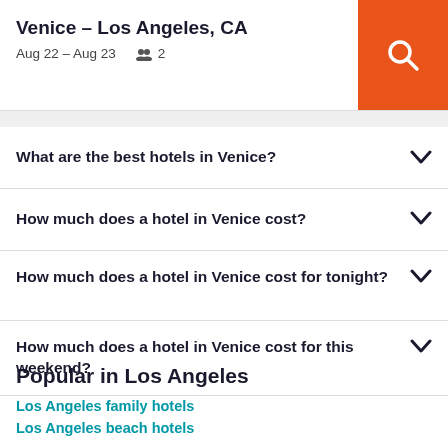Venice – Los Angeles, CA
Aug 22 – Aug 23   2
What are the best hotels in Venice?
How much does a hotel in Venice cost?
How much does a hotel in Venice cost for tonight?
How much does a hotel in Venice cost for this weekend?
Popular in Los Angeles
Los Angeles family hotels
Los Angeles beach hotels